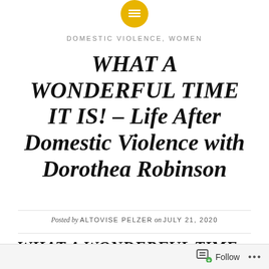[Figure (logo): Small circular yellow/gold icon with lines, website logo at the top center]
DOMESTIC VIOLENCE, WOMEN
WHAT A WONDERFUL TIME IT IS! – Life After Domestic Violence with Dorothea Robinson
Posted by ALTOVISE PELZER on JULY 21, 2020
WHAT A WONDERFUL TIME IT IS! – Life After Domestic Violence with Dorothea Robinson